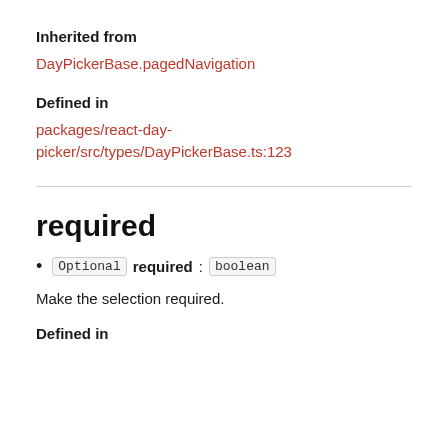Inherited from
DayPickerBase.pagedNavigation
Defined in
packages/react-day-picker/src/types/DayPickerBase.ts:123
required
Optional required: boolean
Make the selection required.
Defined in